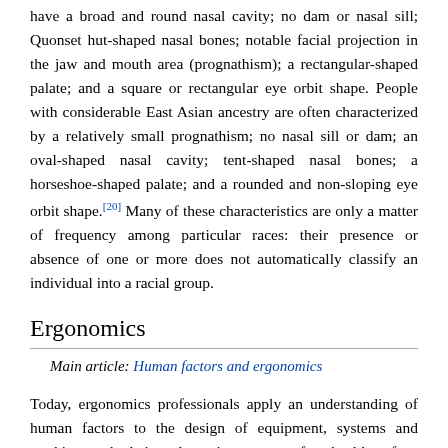have a broad and round nasal cavity; no dam or nasal sill; Quonset hut-shaped nasal bones; notable facial projection in the jaw and mouth area (prognathism); a rectangular-shaped palate; and a square or rectangular eye orbit shape. People with considerable East Asian ancestry are often characterized by a relatively small prognathism; no nasal sill or dam; an oval-shaped nasal cavity; tent-shaped nasal bones; a horseshoe-shaped palate; and a rounded and non-sloping eye orbit shape.[20] Many of these characteristics are only a matter of frequency among particular races: their presence or absence of one or more does not automatically classify an individual into a racial group.
Ergonomics
Main article: Human factors and ergonomics
Today, ergonomics professionals apply an understanding of human factors to the design of equipment, systems and working methods in order to improve comfort, health, safety, and productivity. This includes physical ergonomics in relation to human anatomy, physiological and bio mechanical characteristics; cognitive